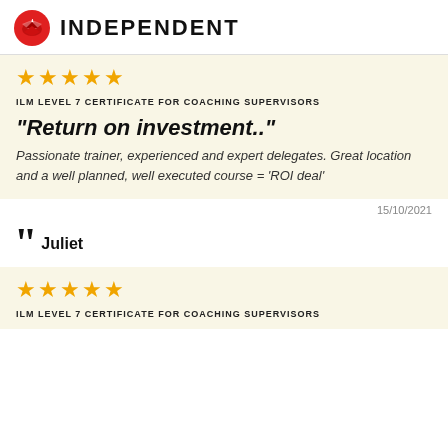INDEPENDENT
★★★★★
ILM LEVEL 7 CERTIFICATE FOR COACHING SUPERVISORS
"Return on investment.."
Passionate trainer, experienced and expert delegates. Great location and a well planned, well executed course = 'ROI deal'
15/10/2021
Juliet
★★★★★
ILM LEVEL 7 CERTIFICATE FOR COACHING SUPERVISORS